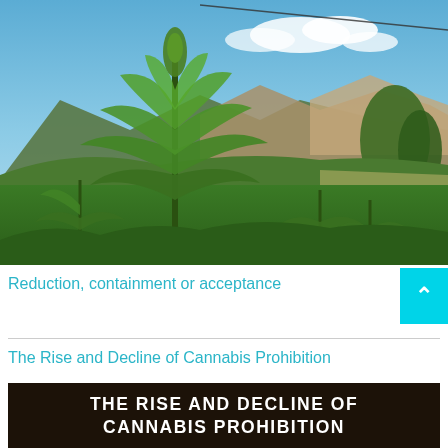[Figure (photo): Cannabis plants growing in a mountain valley landscape with blue sky and clouds in the background]
Reduction, containment or acceptance
The Rise and Decline of Cannabis Prohibition
[Figure (photo): Book cover showing 'THE RISE AND DECLINE OF CANNABIS PROHIBITION' in white text on dark background]